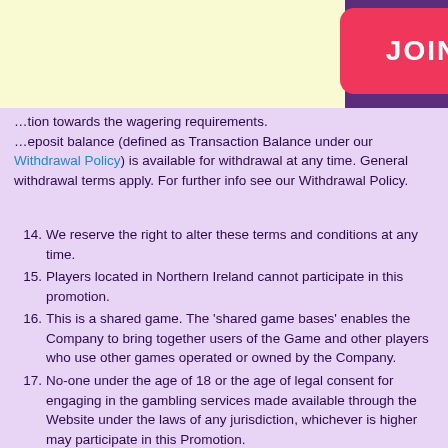JOIN  LOGIN
...For example, if you wager £100 on Live with a 2x contribution towards the wagering requirements. ...deposit balance (defined as Transaction Balance under our Withdrawal Policy) is available for withdrawal at any time. General withdrawal terms apply. For further info see our Withdrawal Policy.
14. We reserve the right to alter these terms and conditions at any time.
15. Players located in Northern Ireland cannot participate in this promotion.
16. This is a shared game. The 'shared game bases' enables the Company to bring together users of the Game and other players who use other games operated or owned by the Company.
17. No-one under the age of 18 or the age of legal consent for engaging in the gambling services made available through the Website under the laws of any jurisdiction, whichever is higher may participate in this Promotion.
18. For security and verification purposes, we reserve the right to limit participation in this Promotion to (i) one per household; (ii) one per computer terminal; or (iii) one per mobile device.
19. If you have a pending message on the Website's cashier regarding your recent gaming activity, we reserve the right to revoke your eligibility to participate and/or continue to participate in this Promotion. In such an event, any bonus and/or other benefits which